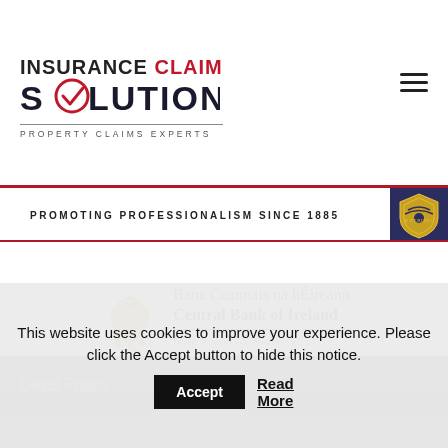[Figure (logo): Insurance Claim Solutions - Property Claims Experts logo with red checkmark in O]
[Figure (logo): CII banner: Promoting Professionalism Since 1885 with shield badge]
[Figure (logo): Central Bank of Ireland / Banc Ceannais na hEireann logo with Irish Financial Services Regulatory Authority text]
Legal Pages
This website uses cookies to improve your experience. Please click the Accept button to hide this notice.
Accept
Read More